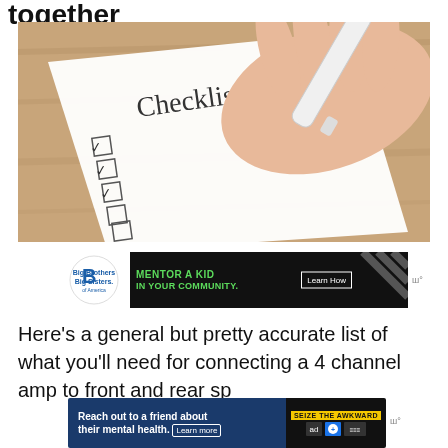together
[Figure (photo): A hand holding a white marker/pen, writing checkmarks on a printed Checklist document on a wooden table. Several checkboxes are checked and several are unchecked.]
[Figure (infographic): Advertisement banner: Big Brothers Big Sisters logo on left, text 'MENTOR A KID IN YOUR COMMUNITY.' in green on black background, 'Learn How' button, diagonal stripes on right.]
Here’s a general but pretty accurate list of what you’ll need for connecting a 4 channel amp to front and rear sp
[Figure (infographic): Advertisement banner: Dark blue background with text 'Reach out to a friend about their mental health.' and 'Learn more' button. Right side shows 'SEIZE THE AWKWARD' yellow badge with logos.]